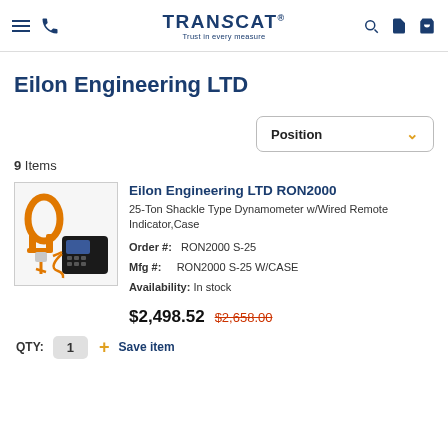TRANSCAT — Trust in every measure
Eilon Engineering LTD
Position (sort dropdown)
9 Items
[Figure (photo): Eilon Engineering RON2000 shackle type dynamometer with orange cable and black remote indicator unit]
Eilon Engineering LTD RON2000
25-Ton Shackle Type Dynamometer w/Wired Remote Indicator,Case
Order #: RON2000 S-25
Mfg #: RON2000 S-25 W/CASE
Availability: In stock
$2,498.52  $2,658.00
QTY: 1  + Save item